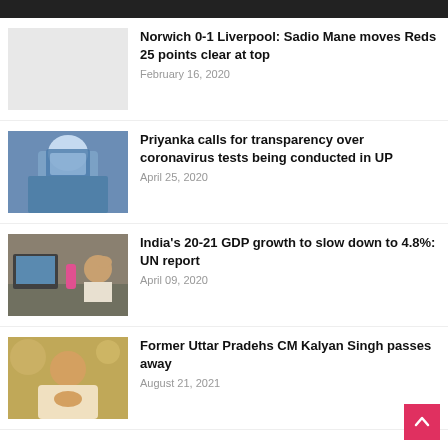[Figure (photo): Dark header bar at top of page]
[Figure (photo): Light gray placeholder thumbnail for Norwich vs Liverpool article]
Norwich 0-1 Liverpool: Sadio Mane moves Reds 25 points clear at top
February 16, 2020
[Figure (photo): Medical worker in blue PPE suit and face shield conducting coronavirus test]
Priyanka calls for transparency over coronavirus tests being conducted in UP
April 25, 2020
[Figure (photo): Man sitting at desk with computer holding head in hand, pink water bottle visible]
India's 20-21 GDP growth to slow down to 4.8%: UN report
April 09, 2020
[Figure (photo): Elderly man in white clothing with hands clasped together in prayer gesture]
Former Uttar Pradehs CM Kalyan Singh passes away
August 21, 2021